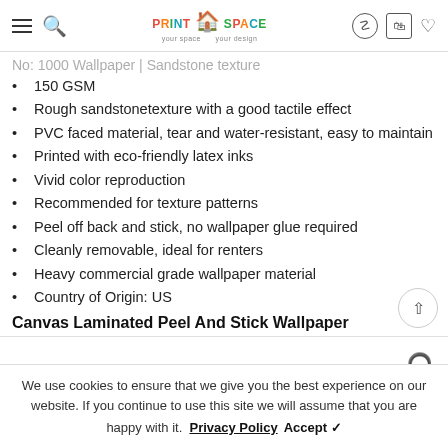PrintSpace navigation header
[partial heading clipped]
150 GSM
Rough sandstonetexture with a good tactile effect
PVC faced material, tear and water-resistant, easy to maintain
Printed with eco-friendly latex inks
Vivid color reproduction
Recommended for texture patterns
Peel off back and stick, no wallpaper glue required
Cleanly removable, ideal for renters
Heavy commercial grade wallpaper material
Country of Origin: US
Canvas Laminated Peel And Stick Wallpaper
We use cookies to ensure that we give you the best experience on our website. If you continue to use this site we will assume that you are happy with it. Privacy Policy  Accept ✓